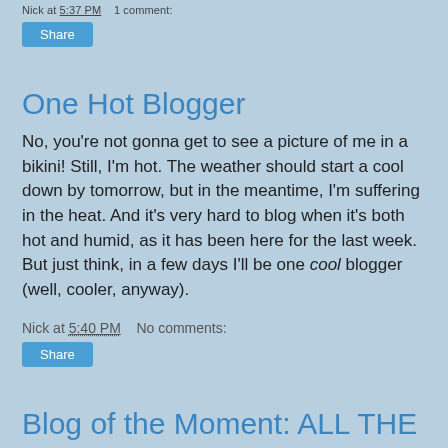Nick at 5:37 PM   1 comment:
Share
One Hot Blogger
No, you're not gonna get to see a picture of me in a bikini! Still, I'm hot. The weather should start a cool down by tomorrow, but in the meantime, I'm suffering in the heat. And it's very hard to blog when it's both hot and humid, as it has been here for the last week. But just think, in a few days I'll be one cool blogger (well, cooler, anyway).
Nick at 5:40 PM   No comments:
Share
Blog of the Moment: ALL THE BUILDINGS IN NEW YORK
An attempt to draw all the buildings in New York by James